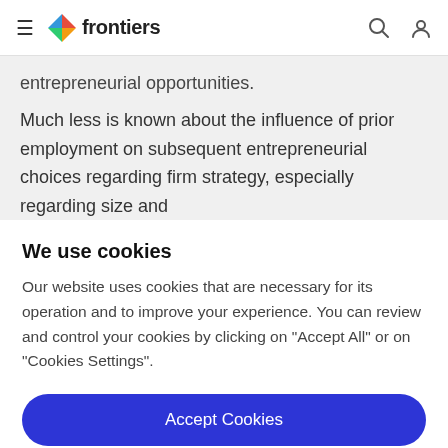frontiers
entrepreneurial opportunities.
Much less is known about the influence of prior employment on subsequent entrepreneurial choices regarding firm strategy, especially regarding size and
We use cookies
Our website uses cookies that are necessary for its operation and to improve your experience. You can review and control your cookies by clicking on "Accept All" or on "Cookies Settings".
Accept Cookies
Cookies Settings